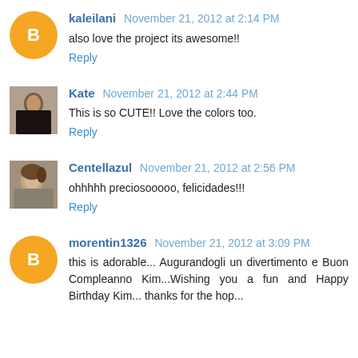kaleilani November 21, 2012 at 2:14 PM
also love the project its awesome!!
Reply
Kate November 21, 2012 at 2:44 PM
This is so CUTE!! Love the colors too.
Reply
Centellazul November 21, 2012 at 2:56 PM
ohhhhh preciosooooo, felicidades!!!
Reply
morentin1326 November 21, 2012 at 3:09 PM
this is adorable... Augurandogli un divertimento e Buon Compleanno Kim...Wishing you a fun and Happy Birthday Kim... thanks for the hop...